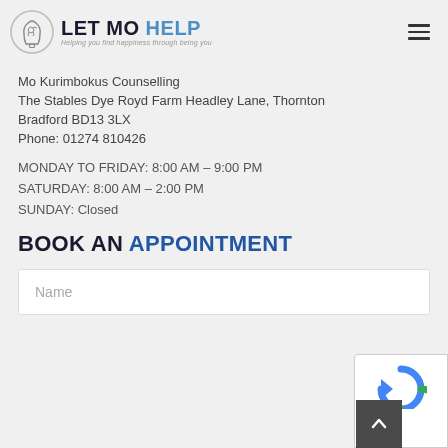[Figure (logo): Let Mo Help logo with brain/head icon, text 'LET MO HELP' and tagline 'Helping you find happiness through being you']
Mo Kurimbokus Counselling
The Stables Dye Royd Farm Headley Lane, Thornton
Bradford BD13 3LX
Phone: 01274 810426
MONDAY TO FRIDAY: 8:00 AM – 9:00 PM
SATURDAY: 8:00 AM – 2:00 PM
SUNDAY: Closed
BOOK AN APPOINTMENT
Name